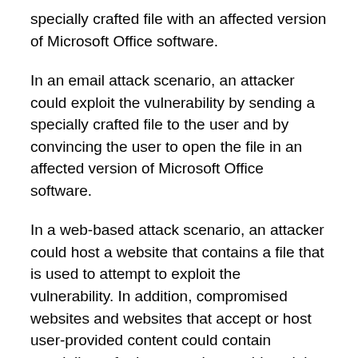specially crafted file with an affected version of Microsoft Office software.
In an email attack scenario, an attacker could exploit the vulnerability by sending a specially crafted file to the user and by convincing the user to open the file in an affected version of Microsoft Office software.
In a web-based attack scenario, an attacker could host a website that contains a file that is used to attempt to exploit the vulnerability. In addition, compromised websites and websites that accept or host user-provided content could contain specially crafted content that could exploit this vulnerability. An attacker would have no way to force users to visit a specially crafted website. Instead, an attacker would have to convince them to visit the website, typically by getting them to click a link in an email message or Instant Messenger message that takes them to the attacker's site, and then convince them to open the specially